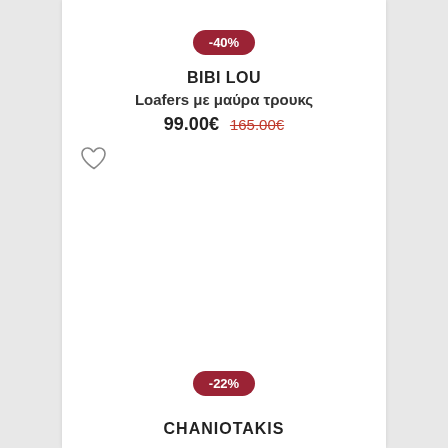-40%
BIBI LOU
Loafers με μαύρα τρουκς
99.00€  165.00€
[Figure (illustration): Heart/wishlist outline icon on left side]
-22%
CHANIOTAKIS